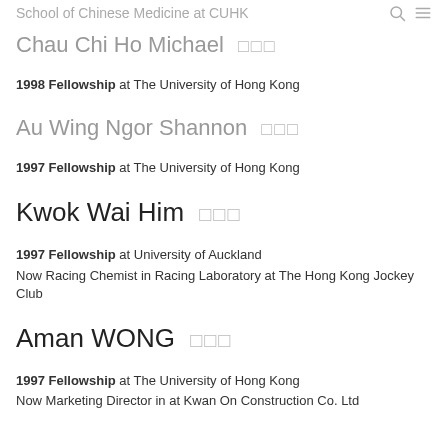School of Chinese Medicine at CUHK
Chau Chi Ho Michael 周智豪
1998 Fellowship at The University of Hong Kong
Au Wing Ngor Shannon 區穎娥
1997 Fellowship at The University of Hong Kong
Kwok Wai Him 郭偉謙
1997 Fellowship at University of Auckland
Now Racing Chemist in Racing Laboratory at The Hong Kong Jockey Club
Aman WONG 黃文超
1997 Fellowship at The University of Hong Kong
Now Marketing Director in at Kwan On Construction Co. Ltd